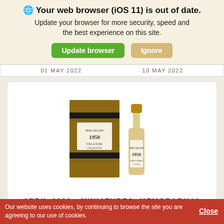🌐 Your web browser (iOS 11) is out of date. Update your browser for more security, speed and the best experience on this site.
Update browser | Ignore
01 MAY 2022   10 MAY 2022
[Figure (photo): Macallan 1950 miniature whisky bottle with wooden box packaging]
APRIL 2022 - MINIATURES, MEMORABILIA & BOOKS
Our website uses cookies, by continuing to browse the site you are agreeing to our use of cookies.
Close